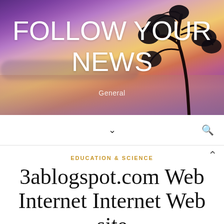[Figure (illustration): Hero banner with a sunset/twilight landscape over water. Purple and orange gradient sky with a silhouetted tree on the right side. Text overlay reads 'FOLLOW YOUR NEWS' and 'General'.]
FOLLOW YOUR NEWS
General
EDUCATION & SCIENCE
3ablogspot.com Web Internet Internet Web site